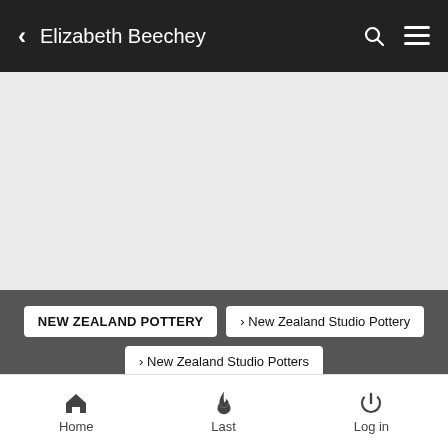Elizabeth Beechey
[Figure (photo): Grey placeholder image area for Elizabeth Beechey profile]
NEW ZEALAND POTTERY  >  New Zealand Studio Pottery  >  New Zealand Studio Potters
Elizabeth Beechey
Home  Last  Log in